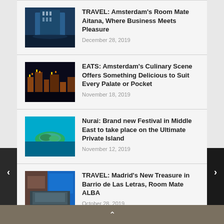TRAVEL: Amsterdam's Room Mate Aitana, Where Business Meets Pleasure
December 28, 2019
EATS: Amsterdam's Culinary Scene Offers Something Delicious to Suit Every Palate or Pocket
November 18, 2019
Nurai: Brand new Festival in Middle East to take place on the Ultimate Private Island
November 12, 2019
TRAVEL: Madrid's New Treasure in Barrio de Las Letras, Room Mate ALBA
October 28, 2019